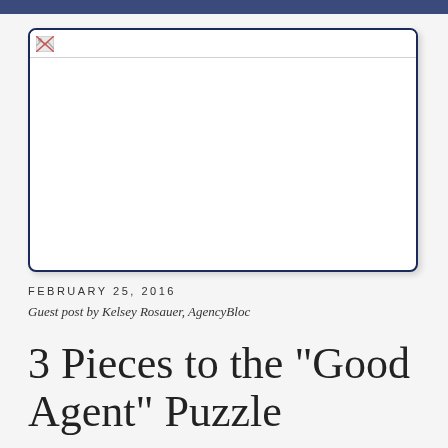[Figure (photo): A broken/unloaded image placeholder inside a navy-bordered rounded rectangle box with a small broken image icon in the top-left corner]
FEBRUARY 25, 2016
Guest post by Kelsey Rosauer, AgencyBloc
3 Pieces to the "Good Agent" Puzzle